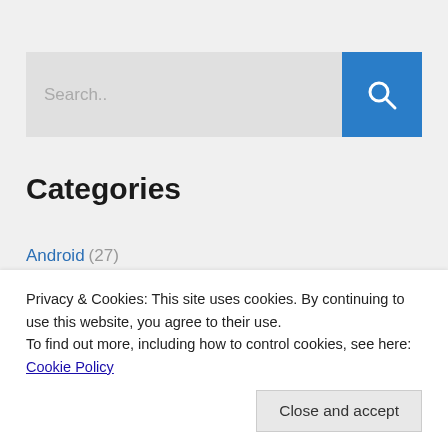[Figure (screenshot): Search bar with text input field showing 'Search..' placeholder and a blue search button with magnifying glass icon]
Categories
Android (27)
Archive (125)
Azure (13)
Privacy & Cookies: This site uses cookies. By continuing to use this website, you agree to their use.
To find out more, including how to control cookies, see here: Cookie Policy
Close and accept